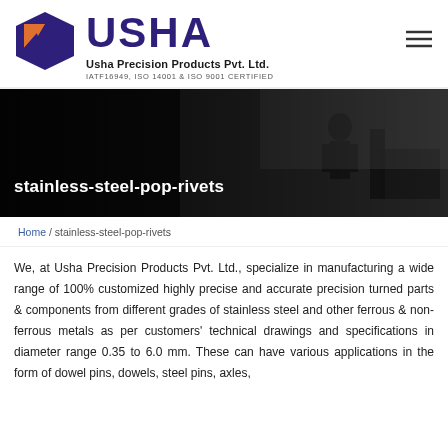[Figure (logo): Usha Precision Products logo: geometric shield shape with orange, dark blue and light blue triangular sections]
USHA
Usha Precision Products Pvt. Ltd.
IATF16949, ISO 14001 & ISO 9001 CERTIFIED
[Figure (photo): Black and white banner photo of an industrial factory floor with a worker operating machinery; text overlay reads 'stainless-steel-pop-rivets']
stainless-steel-pop-rivets
Home / stainless-steel-pop-rivets
We, at Usha Precision Products Pvt. Ltd., specialize in manufacturing a wide range of 100% customized highly precise and accurate precision turned parts & components from different grades of stainless steel and other ferrous & non-ferrous metals as per customers' technical drawings and specifications in diameter range 0.35 to 6.0 mm. These can have various applications in the form of dowel pins, dowels, steel pins, axles, shafts, hinge shafts, spindles, clevis pins, joint pins, roller axles, a...